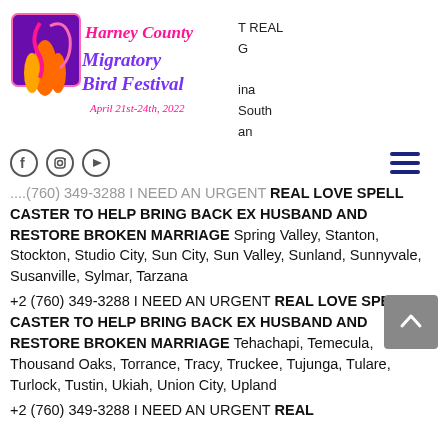[Figure (logo): Harney County Migratory Bird Festival logo with colorful bird illustration and text 'Harney County Migratory Bird Festival April 21st-24th, 2022']
T REAL
G

ina
South
an
[Figure (other): Social media icons: Facebook, Instagram, YouTube circles]
[Figure (other): Hamburger menu icon (three horizontal lines)]
+2 (760) 349-3288 I NEED AN URGENT REAL LOVE SPELL CASTER TO HELP BRING BACK EX HUSBAND AND RESTORE BROKEN MARRIAGE  Spring Valley, Stanton, Stockton, Studio City, Sun City, Sun Valley, Sunland, Sunnyvale, Susanville, Sylmar, Tarzana
+2 (760) 349-3288 I NEED AN URGENT REAL LOVE SPELL CASTER TO HELP BRING BACK EX HUSBAND AND RESTORE BROKEN MARRIAGE  Tehachapi, Temecula, Thousand Oaks, Torrance, Tracy, Truckee, Tujunga, Tulare, Turlock, Tustin, Ukiah, Union City, Upland
+2 (760) 349-3288 I NEED AN URGENT REAL